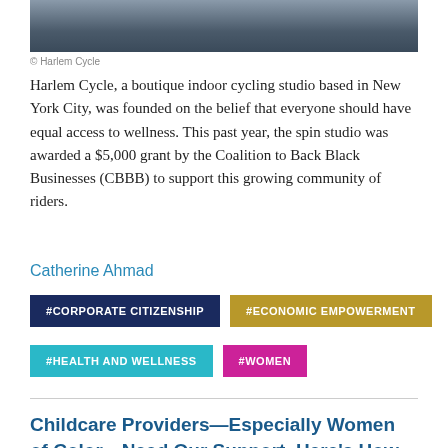[Figure (photo): Partial photo of a person, cropped at top of page]
© Harlem Cycle
Harlem Cycle, a boutique indoor cycling studio based in New York City, was founded on the belief that everyone should have equal access to wellness. This past year, the spin studio was awarded a $5,000 grant by the Coalition to Back Black Businesses (CBBB) to support this growing community of riders.
Catherine Ahmad
#CORPORATE CITIZENSHIP
#ECONOMIC EMPOWERMENT
#HEALTH AND WELLNESS
#WOMEN
Childcare Providers—Especially Women of Color—Need Our Support. Here's How